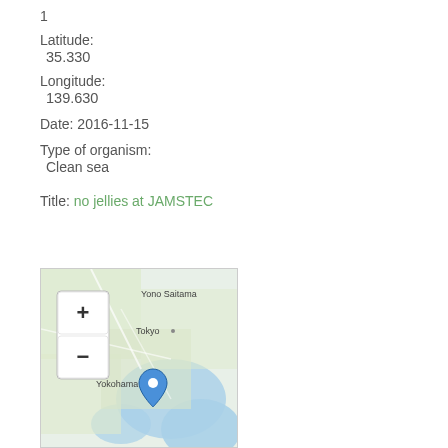1
Latitude:
35.330
Longitude:
139.630
Date: 2016-11-15
Type of organism:
Clean sea
Title: no jellies at JAMSTEC
[Figure (map): Interactive map showing location near Tokyo/Yokohama area in Japan, with zoom in/out controls (+/-) and a blue location pin marker placed near Yokohama/Tokyo Bay area. Map shows Yono, Saitama, Tokyo, and Yokohama labels.]